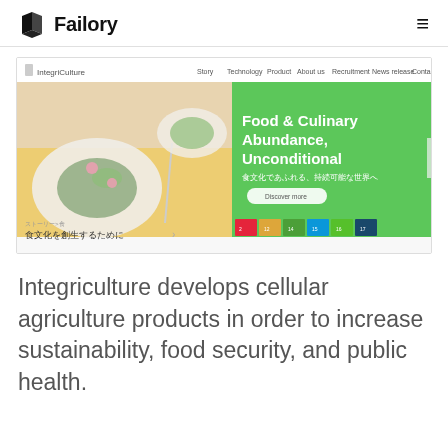Failory
[Figure (screenshot): Screenshot of the Integriculture website showing navigation bar with Story, Technology, Product, About us, Recruitment, News release, Contact links. Left side shows food photography of plated dishes on a yellow background with Japanese text '食文化を創生するために'. Right side shows green panel with text 'Food & Culinary Abundance, Unconditional', Japanese subtitle '食文化であふれる、持続可能な世界へ', a 'Discover more' button, and SDG icons at the bottom.]
Integriculture develops cellular agriculture products in order to increase sustainability, food security, and public health.